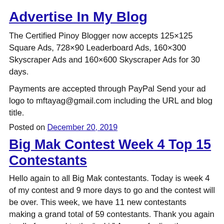Advertise In My Blog
The Certified Pinoy Blogger now accepts 125×125 Square Ads, 728×90 Leaderboard Ads, 160×300 Skyscraper Ads and 160×600 Skyscraper Ads for 30 days.
Payments are accepted through PayPal Send your ad logo to mftayag@gmail.com including the URL and blog title.
Posted on December 20, 2019
Big Mak Contest Week 4 Top 15 Contestants
Hello again to all Big Mak contestants. Today is week 4 of my contest and 9 more days to go and the contest will be over. This week, we have 11 new contestants making a grand total of 59 contestants. Thank you again to all of you and to the “suki.” Are you feeling the excitement of this contest or what? On my part, it is exciting and at the same time toxic. Starting yesterday, I have been receiving floods of comments. I know it is included in the mechanics and I have to live with it and just tabulate. Exciting coz new names are surfacing and it seems like a big battle for the top 5